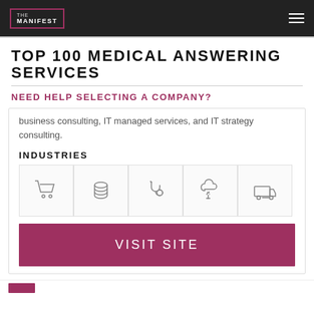THE MANIFEST
TOP 100 MEDICAL ANSWERING SERVICES
NEED HELP SELECTING A COMPANY?
business consulting, IT managed services, and IT strategy consulting.
INDUSTRIES
[Figure (illustration): Five industry icons in bordered boxes: shopping cart, stacked coins/database, stethoscope, cloud with tree, delivery truck]
VISIT SITE